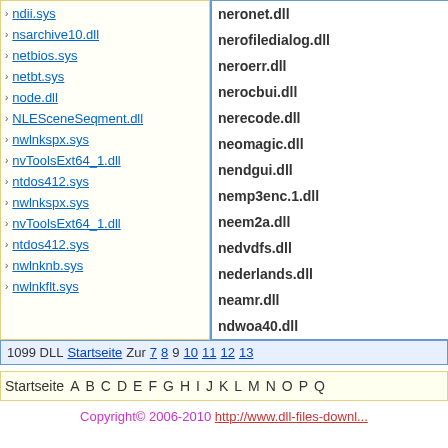ndii.sys
nsarchive10.dll
netbios.sys
netbt.sys
node.dll
NLESceneSeqment.dll
nwlnkspx.sys
nvToolsExt64_1.dll
ntdos412.sys
nwlnkspx.sys
nvToolsExt64_1.dll
ntdos412.sys
nwlnknb.sys
nwlnkflt.sys
neronet.dll
nerofiledialog.dll
neroerr.dll
nerocbui.dll
nerecode.dll
neomagic.dll
nendgui.dll
nemp3enc.1.dll
neem2a.dll
nedvdfs.dll
nederlands.dll
neamr.dll
ndwoa40.dll
1099 DLL   Startseite Zur 7 8 9 10 11 12 13
Startseite A B C D E F G H I J K L M N O P Q
Copyright© 2006-2010 http://www.dll-files-downl...